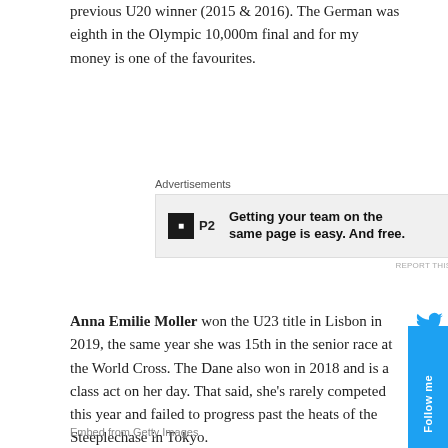previous U20 winner (2015 & 2016). The German was eighth in the Olympic 10,000m final and for my money is one of the favourites.
[Figure (other): Advertisement box for P2: 'Getting your team on the same page is easy. And free.']
Anna Emilie Moller won the U23 title in Lisbon in 2019, the same year she was 15th in the senior race at the World Cross. The Dane also won in 2018 and is a class act on her day. That said, she's rarely competed this year and failed to progress past the heats of the Steeplechase in Tokyo.
Embed from Getty Images